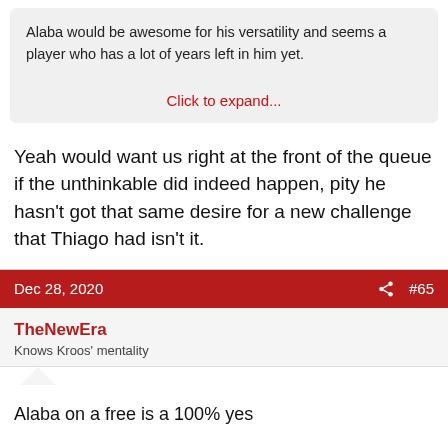Alaba would be awesome for his versatility and seems a player who has a lot of years left in him yet.
Click to expand...
Yeah would want us right at the front of the queue if the unthinkable did indeed happen, pity he hasn't got that same desire for a new challenge that Thiago had isn't it.
Dec 28, 2020   #65
TheNewEra
Knows Kroos' mentality
Alaba on a free is a 100% yes